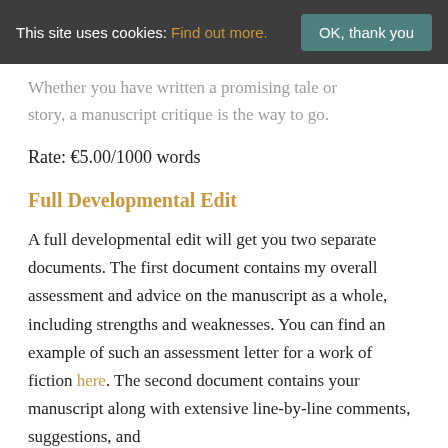This site uses cookies: Find out more. | OK, thank you
Whether you have written a promising tale or story, a manuscript critique is the way to go.
Rate: €5.00/1000 words
Full Developmental Edit
A full developmental edit will get you two separate documents. The first document contains my overall assessment and advice on the manuscript as a whole, including strengths and weaknesses. You can find an example of such an assessment letter for a work of fiction here. The second document contains your manuscript along with extensive line-by-line comments, suggestions, and